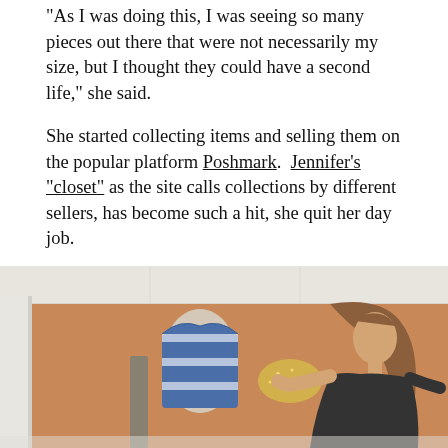"As I was doing this, I was seeing so many pieces out there that were not necessarily my size, but I thought they could have a second life," she said.
She started collecting items and selling them on the popular platform Poshmark. Jennifer's "closet" as the site calls collections by different sellers, has become such a hit, she quit her day job.
"I'm full-time Poshmark selling online and it's basically like I have my own online boutique consignment store," she said.
[Figure (photo): A woman with long brown hair wearing a dark shirt arranges clothing on a mannequin in a room with beige/tan walls. A striped blue and white garment is visible on the mannequin, and the woman is handling what appears to be a sparkly/sequined item. The room appears to be a home closet or small boutique space with a white ceiling and white molding.]